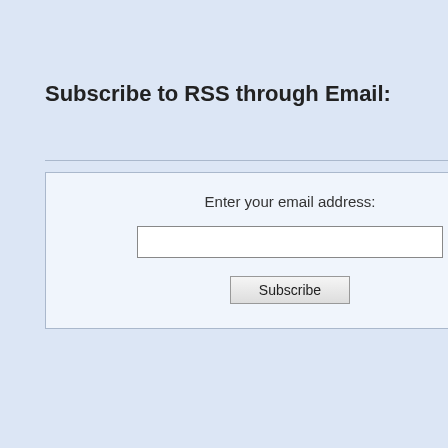Subscribe to RSS through Email:
Enter your email address:
Subscribe
Get free incoming traffic from Us. Wordpress, Drupal) with any temp widgets, modules) you have down VivoCiti's published articles may u You will get free incoming traffic in
Forum
CMS (Joomla, Wordp and Blogger
Get free incoming traffic to announce & publish your site (Joomla, Wordpress, with any templates & the (component, plugins, wid have downloaded from V partner's & installed . All articles may use your we we think YOURS is COO incoming traffic in return
VivoCiti Main Lobby
Welcome to VivoCiti Online Forum
Forum
General
Post and share everything from Categories listed be